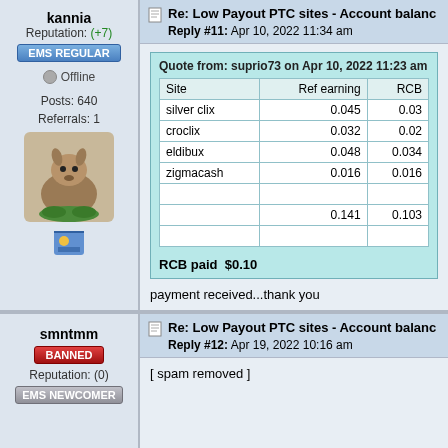kannia
Reputation: (+7)
EMS REGULAR
Offline
Posts: 640
Referrals: 1
[Figure (illustration): Cartoon donkey avatar image]
Re: Low Payout PTC sites - Account balance
Reply #11: Apr 10, 2022 11:34 am
Quote from: suprio73 on Apr 10, 2022 11:23 am
| Site | Ref earning | RCB |
| --- | --- | --- |
| silver clix | 0.045 | 0.03 |
| croclix | 0.032 | 0.02 |
| eldibux | 0.048 | 0.034 |
| zigmacash | 0.016 | 0.016 |
|  | 0.141 | 0.103 |
RCB paid  $0.10
payment received...thank you
smntmm
BANNED
Reputation: (0)
EMS NEWCOMER
Re: Low Payout PTC sites - Account balance
Reply #12: Apr 19, 2022 10:16 am
[ spam removed ]